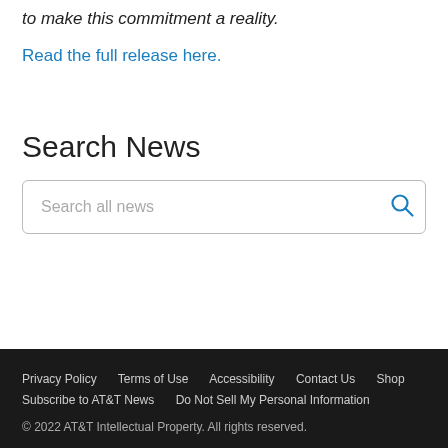to make this commitment a reality.
Read the full release here.
Search News
Search all news
Privacy Policy   Terms of Use   Accessibility   Contact Us   Shop   Subscribe to AT&T News   Do Not Sell My Personal Information
© 2022 AT&T Intellectual Property. All rights reserved.